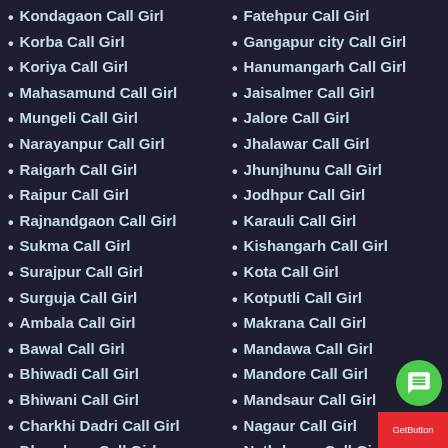Kondagaon Call Girl
Korba Call Girl
Koriya Call Girl
Mahasamund Call Girl
Mungeli Call Girl
Narayanpur Call Girl
Raigarh Call Girl
Raipur Call Girl
Rajnandgaon Call Girl
Sukma Call Girl
Surajpur Call Girl
Surguja Call Girl
Ambala Call Girl
Bawal Call Girl
Bhiwadi Call Girl
Bhiwani Call Girl
Charkhi Dadri Call Girl
Dharuhera Call Girl
Faridabad Call Girl
Fatehpur Call Girl
Gangapur city Call Girl
Hanumangarh Call Girl
Jaisalmer Call Girl
Jalore Call Girl
Jhalawar Call Girl
Jhunjhunu Call Girl
Jodhpur Call Girl
Karauli Call Girl
Kishangarh Call Girl
Kota Call Girl
Kotputli Call Girl
Makrana Call Girl
Mandawa Call Girl
Mandore Call Girl
Mandsaur Call Girl
Nagaur Call Girl
Nathdwara Call Girl